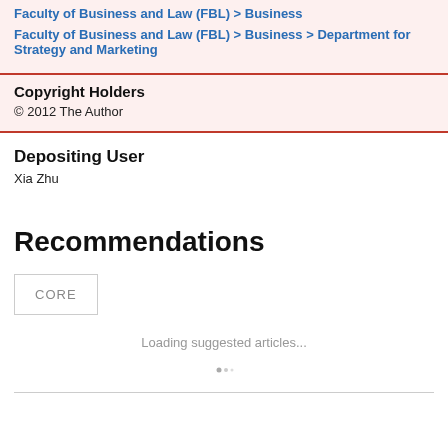Faculty of Business and Law (FBL) > Business
Faculty of Business and Law (FBL) > Business > Department for Strategy and Marketing
Copyright Holders
© 2012 The Author
Depositing User
Xia Zhu
Recommendations
[Figure (other): CORE logo box — a bordered white box with the text CORE in grey letters]
Loading suggested articles...